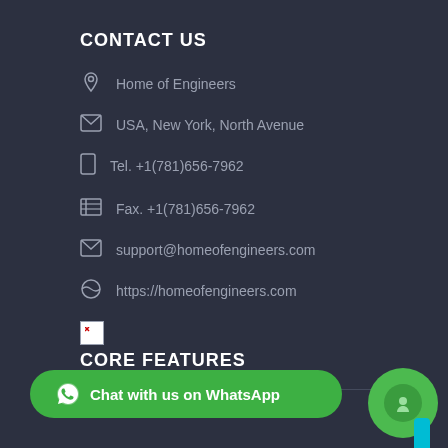CONTACT US
Home of Engineers
USA, New York, North Avenue
Tel. +1(781)656-7962
Fax. +1(781)656-7962
support@homeofengineers.com
https://homeofengineers.com
[Figure (other): Broken image placeholder icon]
CORE FEATURES
Chat with us on WhatsApp